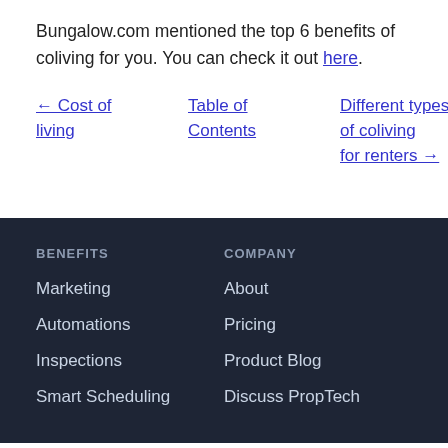Bungalow.com mentioned the top 6 benefits of coliving for you. You can check it out here.
← Cost of living
Table of Contents
Different types of coliving for renters →
BENEFITS
Marketing
Automations
Inspections
Smart Scheduling
COMPANY
About
Pricing
Product Blog
Discuss PropTech